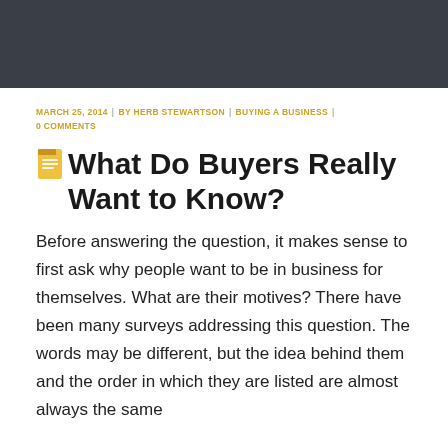MARCH 25, 2014 | BY HERB STEWARTSON | BUYING A BUSINESS | 0 COMMENTS
What Do Buyers Really Want to Know?
Before answering the question, it makes sense to first ask why people want to be in business for themselves. What are their motives? There have been many surveys addressing this question. The words may be different, but the idea behind them and the order in which they are listed are almost always the same